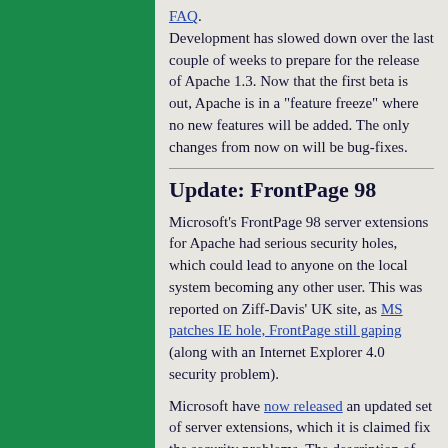FAQ.
Development has slowed down over the last couple of weeks to prepare for the release of Apache 1.3. Now that the first beta is out, Apache is in a "feature freeze" where no new features will be added. The only changes from now on will be bug-fixes.
Update: FrontPage 98
Microsoft's FrontPage 98 server extensions for Apache had serious security holes, which could lead to anyone on the local system becoming any other user. This was reported on Ziff-Davis' UK site, as MS patches IE hole, FrontPage still gaping (along with an Internet Explorer 4.0 security problem).
Microsoft have now released an updated set of server extensions, which it is claimed fix the security problems. The description of how the new server extensions work does appear much better than the previous version.